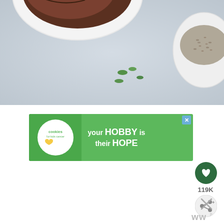[Figure (photo): Food photography showing a white bowl with stir-fried beef and vegetables, green onion pieces scattered on a light blue-gray surface, and a small white bowl with chia seeds in the upper right corner]
[Figure (infographic): Advertisement banner for Cookies for Kids Cancer charity with green background showing a child's hands holding a heart-shaped cookie, text reads 'your HOBBY is their HOPE']
119K
[Figure (other): Close button (X) and Mediavine ad network logo at bottom right]